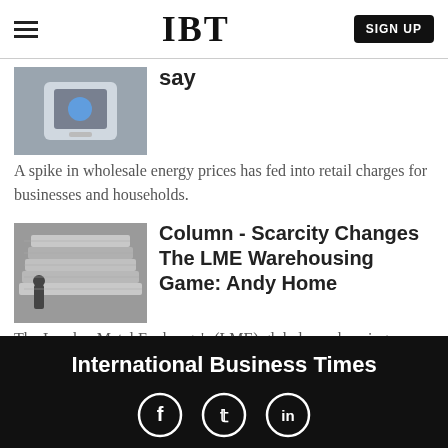IBT | SIGN UP
say
A spike in wholesale energy prices has fed into retail charges for businesses and households.
[Figure (photo): Photo of person holding smartphone]
[Figure (photo): Photo of stacked metal ingots in a warehouse]
Column - Scarcity Changes The LME Warehousing Game: Andy Home
The London Metal Exchange's (LME) global warehousing network is shrinking rapidly.
International Business Times